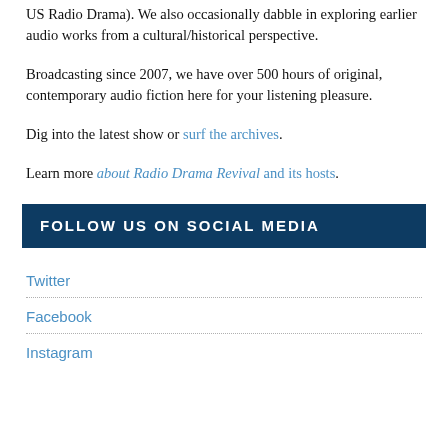US Radio Drama). We also occasionally dabble in exploring earlier audio works from a cultural/historical perspective.
Broadcasting since 2007, we have over 500 hours of original, contemporary audio fiction here for your listening pleasure.
Dig into the latest show or surf the archives.
Learn more about Radio Drama Revival and its hosts.
FOLLOW US ON SOCIAL MEDIA
Twitter
Facebook
Instagram